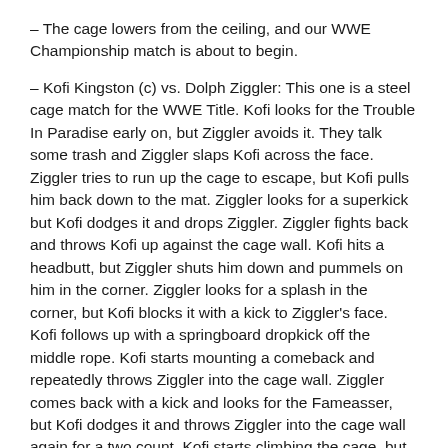– The cage lowers from the ceiling, and our WWE Championship match is about to begin.
– Kofi Kingston (c) vs. Dolph Ziggler: This one is a steel cage match for the WWE Title. Kofi looks for the Trouble In Paradise early on, but Ziggler avoids it. They talk some trash and Ziggler slaps Kofi across the face. Ziggler tries to run up the cage to escape, but Kofi pulls him back down to the mat. Ziggler looks for a superkick but Kofi dodges it and drops Ziggler. Ziggler fights back and throws Kofi up against the cage wall. Kofi hits a headbutt, but Ziggler shuts him down and pummels on him in the corner. Ziggler looks for a splash in the corner, but Kofi blocks it with a kick to Ziggler's face. Kofi follows up with a springboard dropkick off the middle rope. Kofi starts mounting a comeback and repeatedly throws Ziggler into the cage wall. Ziggler comes back with a kick and looks for the Fameasser, but Kofi dodges it and throws Ziggler into the cage wall again for a two count. Kofi starts climbing the cage, but Ziggler follows and grabs his leg. Kofi kicks him away and then hits a springboard cross body on Ziggler. They climb up the cage